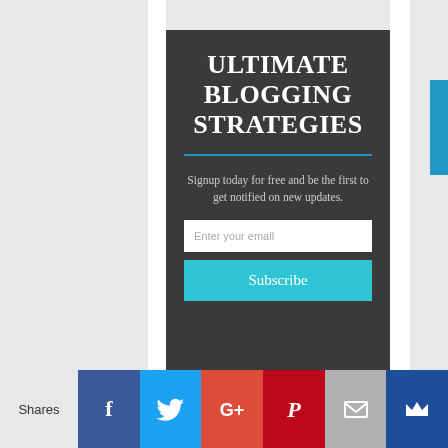ULTIMATE BLOGGING STRATEGIES
Signup today for free and be the first to get notified on new updates.
Enter your email
Subscribe
Shares